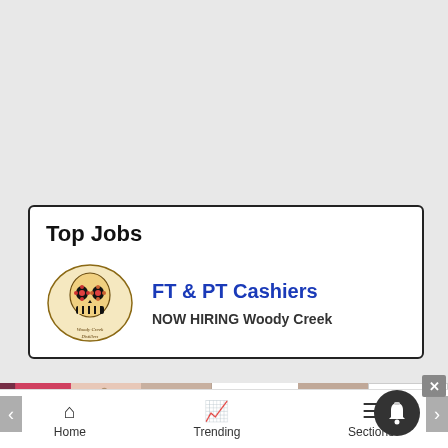Top Jobs
FT & PT Cashiers
NOW HIRING Woody Creek
[Figure (logo): Woody Creek Distillers sugar skull logo]
[Figure (photo): ULTA beauty advertisement banner with makeup photos and Shop Now button]
Home   Trending   Sections